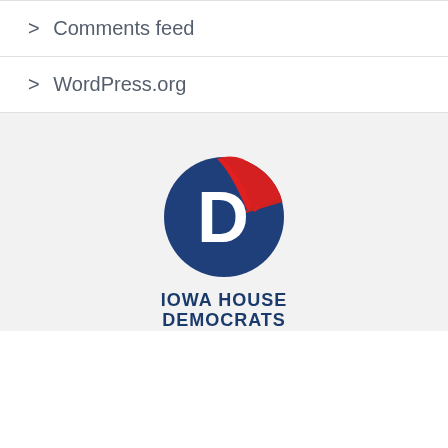> Comments feed
> WordPress.org
[Figure (logo): Iowa House Democrats logo: circular dark blue emblem with a white letter D and a red diagonal swoosh, with text 'IOWA HOUSE DEMOCRATS' below in dark blue bold capitals.]